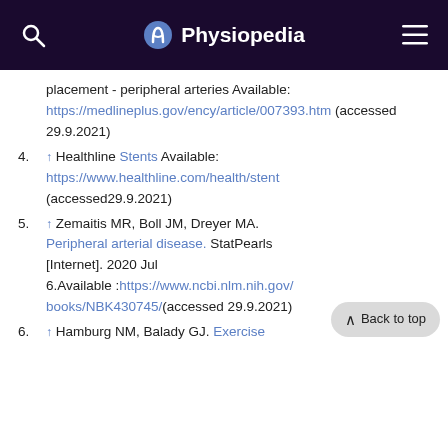Physiopedia
placement - peripheral arteries Available: https://medlineplus.gov/ency/article/007393.htm (accessed 29.9.2021)
4. ↑ Healthline Stents Available: https://www.healthline.com/health/stent (accessed29.9.2021)
5. ↑ Zemaitis MR, Boll JM, Dreyer MA. Peripheral arterial disease. StatPearls [Internet]. 2020 Jul 6.Available: https://www.ncbi.nlm.nih.gov/books/NBK430745/ (accessed 29.9.2021)
6. ↑ Hamburg NM, Balady GJ. Exercise